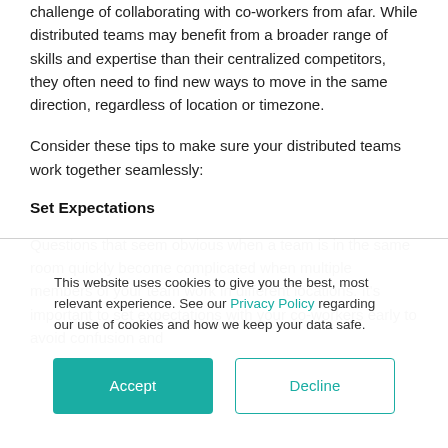challenge of collaborating with co-workers from afar. While distributed teams may benefit from a broader range of skills and expertise than their centralized competitors, they often need to find new ways to move in the same direction, regardless of location or timezone.
Consider these tips to make sure your distributed teams work together seamlessly:
Set Expectations
Questions that seem obvious when a team is in the same room quickly become complicated when multiple members of your team work in different locations. It's important to set expectations with your co-workers early to avoid confusion and
This website uses cookies to give you the best, most relevant experience. See our Privacy Policy regarding our use of cookies and how we keep your data safe.